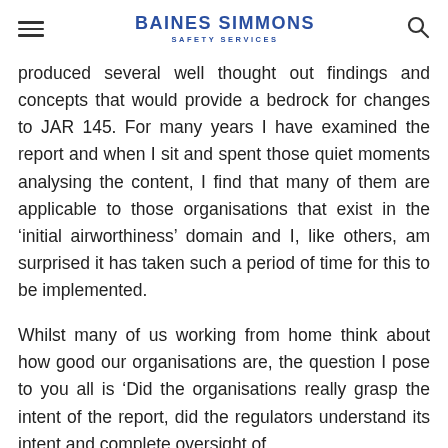BAINES SIMMONS SAFETY SERVICES
produced several well thought out findings and concepts that would provide a bedrock for changes to JAR 145. For many years I have examined the report and when I sit and spent those quiet moments analysing the content, I find that many of them are applicable to those organisations that exist in the ‘initial airworthiness’ domain and I, like others, am surprised it has taken such a period of time for this to be implemented.
Whilst many of us working from home think about how good our organisations are, the question I pose to you all is ‘Did the organisations really grasp the intent of the report, did the regulators understand its intent and complete oversight of